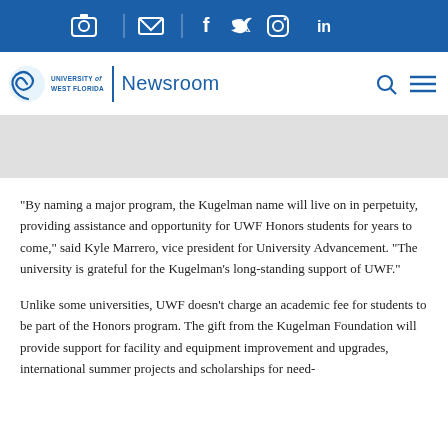[Figure (other): University of West Florida Newsroom website header with social media icons bar (camera, email, Facebook, Twitter, Instagram, LinkedIn) in dark blue, and UWF Newsroom logo with search and menu icons]
[Figure (other): Gray banner/image placeholder area below the navigation bar]
“By naming a major program, the Kugelman name will live on in perpetuity, providing assistance and opportunity for UWF Honors students for years to come,” said Kyle Marrero, vice president for University Advancement. “The university is grateful for the Kugelman’s long-standing support of UWF.”
Unlike some universities, UWF doesn’t charge an academic fee for students to be part of the Honors program. The gift from the Kugelman Foundation will provide support for facility and equipment improvement and upgrades, international summer projects and scholarships for need-